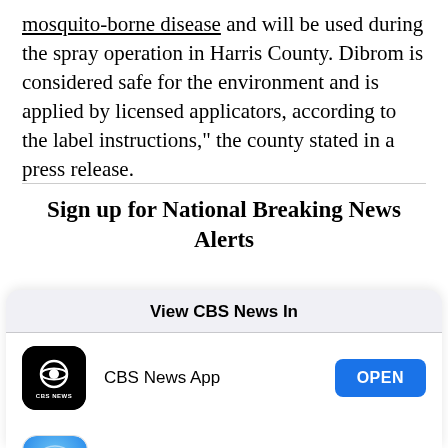mosquito-borne disease and will be used during the spray operation in Harris County. Dibrom is considered safe for the environment and is applied by licensed applicators, according to the label instructions," the county stated in a press release.
Sign up for National Breaking News Alerts
View CBS News In
[Figure (screenshot): CBS News App row with app icon, name 'CBS News App', and blue OPEN button]
[Figure (screenshot): Safari row with Safari compass icon, name 'Safari', and CONTINUE button with blue border]